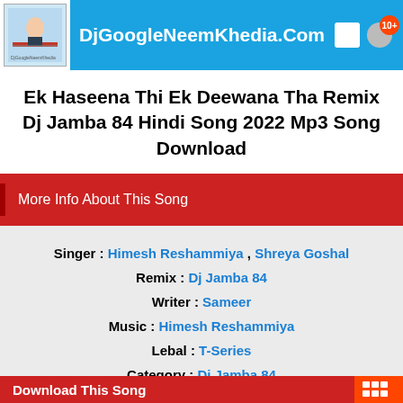DjGoogleNeemKhedia.Com
Ek Haseena Thi Ek Deewana Tha Remix Dj Jamba 84 Hindi Song 2022 Mp3 Song Download
More Info About This Song
Singer : Himesh Reshammiya , Shreya Goshal
Remix : Dj Jamba 84
Writer : Sameer
Music : Himesh Reshammiya
Lebal : T-Series
Category : Dj Jamba 84
Download This Song